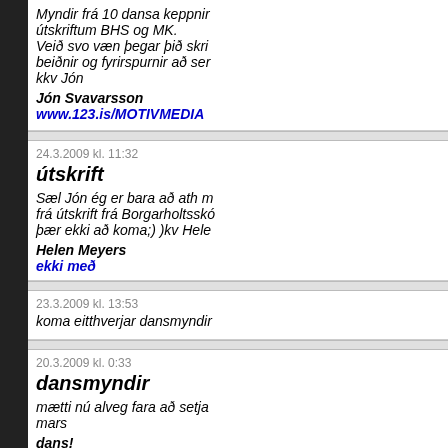Myndir frá 10 dansa keppnir útskriftum BHS og MK. Veið svo væn þegar þið skri beiðnir og fyrirspurnir að ser kkv Jón
Jón Svavarsson
www.123.is/MOTIVMEDIA
24.3.2009 kl. 11:32
útskrift
Sæl Jón ég er bara að ath m frá útskrift frá Borgarholtsskó þær ekki að koma;) )kv Hele
Helen Meyers
ekki með
23.3.2009 kl. 13:53
koma eitthverjar dansmyndir
20.3.2009 kl. 0:33
dansmyndir
mætti nú alveg fara að setja mars
dans!